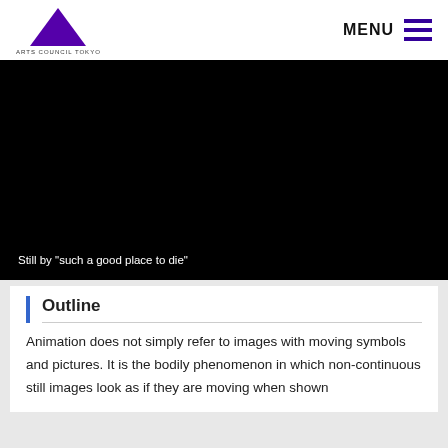ARTS COUNCIL TOKYO  MENU
[Figure (screenshot): Black video still frame with white caption text at bottom left reading: Still by "such a good place to die"]
Still by "such a good place to die"
Outline
Animation does not simply refer to images with moving symbols and pictures. It is the bodily phenomenon in which non-continuous still images look as if they are moving when shown